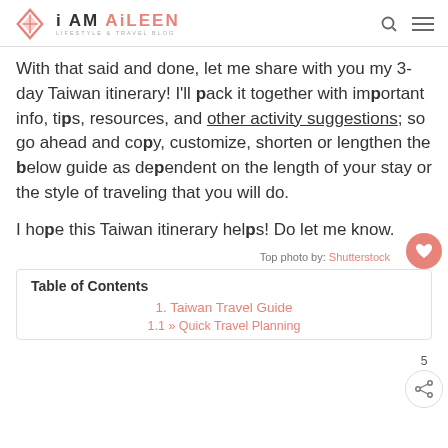i AM AiLEEN — LIFESTYLE & TRAVEL BLOG
With that said and done, let me share with you my 3-day Taiwan itinerary! I'll pack it together with important info, tips, resources, and other activity suggestions; so go ahead and copy, customize, shorten or lengthen the below guide as dependent on the length of your stay or the style of traveling that you will do.
I hope this Taiwan itinerary helps! Do let me know.
Top photo by: Shutterstock
Table of Contents
1. Taiwan Travel Guide
1.1 » Quick Travel Planning